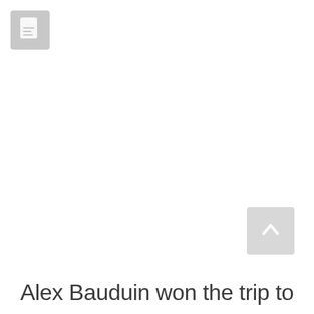[Figure (other): Document/file icon — grey square with document symbol]
[Figure (other): Scroll-to-top button — grey square with upward-pointing chevron]
Alex Bauduin won the trip to